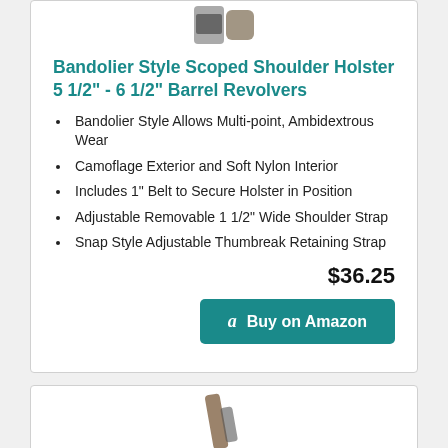[Figure (photo): Product image of holster at top of card, partially cropped]
Bandolier Style Scoped Shoulder Holster 5 1/2" - 6 1/2" Barrel Revolvers
Bandolier Style Allows Multi-point, Ambidextrous Wear
Camoflage Exterior and Soft Nylon Interior
Includes 1" Belt to Secure Holster in Position
Adjustable Removable 1 1/2" Wide Shoulder Strap
Snap Style Adjustable Thumbreak Retaining Strap
$36.25
Buy on Amazon
[Figure (photo): Product image of holster at top of second card, partially cropped]